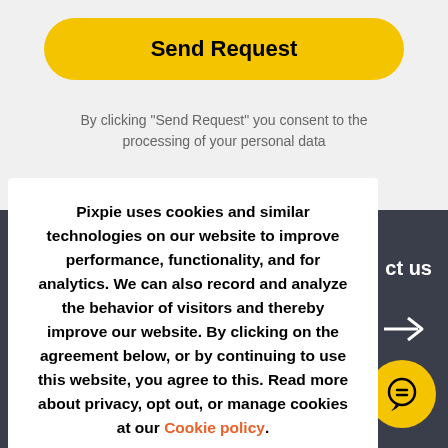Send Request
By clicking "Send Request" you consent to the processing of your personal data
Pixpie uses cookies and similar technologies on our website to improve performance, functionality, and for analytics. We can also record and analyze the behavior of visitors and thereby improve our website. By clicking on the agreement below, or by continuing to use this website, you agree to this. Read more about privacy, opt out, or manage cookies at our Cookie policy.
I ACCEPT
ct us